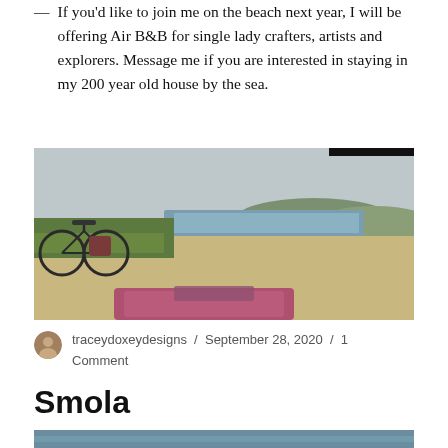If you'd like to join me on the beach next year, I will be offering Air B&B for single lady crafters, artists and explorers.  Message me if you are interested in staying in my 200 year old house by the sea.
[Figure (photo): A wide beach scene with a bicycle on the left leaning on grass, a sandy beach with blue water and hills in the background, and a pink/patterned blanket in the foreground.]
traceydoxeydesigns / September 28, 2020 / 1 Comment
Smola
[Figure (photo): A coastal seascape photo, partially visible at the bottom of the page, showing water.]